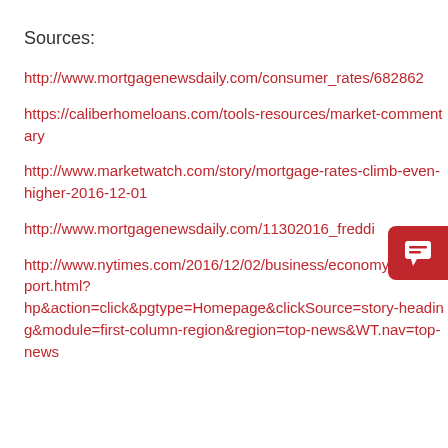Sources:
http://www.mortgagenewsdaily.com/consumer_rates/682862…
https://caliberhomeloans.com/tools-resources/market-commentary
http://www.marketwatch.com/story/mortgage-rates-climb-even-higher-2016-12-01
http://www.mortgagenewsdaily.com/11302016_freddi…
http://www.nytimes.com/2016/12/02/business/economy/jobs-report.html?hp&action=click&pgtype=Homepage&clickSource=story-heading&module=first-column-region&region=top-news&WT.nav=top-news